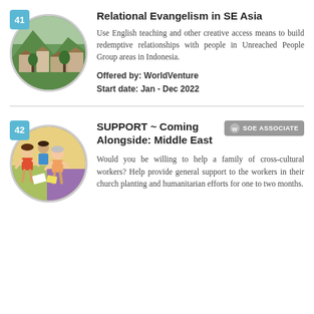[Figure (photo): Circular photo of a hillside village with green mountains, numbered badge 41 in top-left corner]
Relational Evangelism in SE Asia
Use English teaching and other creative access means to build redemptive relationships with people in Unreached People Group areas in Indonesia.
Offered by: WorldVenture
Start date: Jan - Dec 2022
[Figure (photo): Circular photo of children doing a craft activity, numbered badge 42 in top-left corner]
SUPPORT ~ Coming Alongside: Middle East
Would you be willing to help a family of cross-cultural workers? Help provide general support to the workers in their church planting and humanitarian efforts for one to two months.